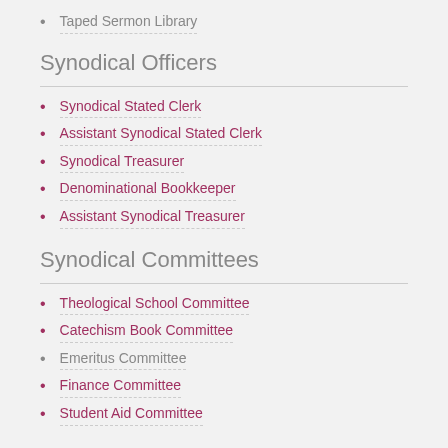Taped Sermon Library
Synodical Officers
Synodical Stated Clerk
Assistant Synodical Stated Clerk
Synodical Treasurer
Denominational Bookkeeper
Assistant Synodical Treasurer
Synodical Committees
Theological School Committee
Catechism Book Committee
Emeritus Committee
Finance Committee
Student Aid Committee